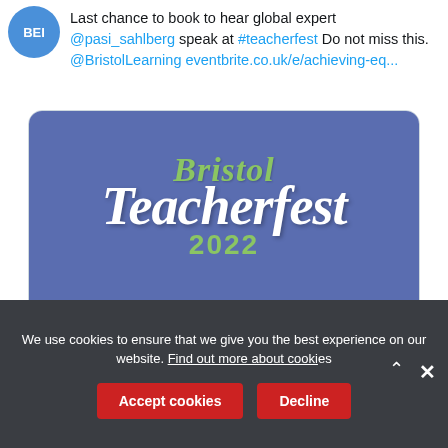Last chance to book to hear global expert @pasi_sahlberg speak at #teacherfest Do not miss this. @BristolLearning eventbrite.co.uk/e/achieving-eq...
[Figure (screenshot): Bristol Teacherfest 2022 event card with purple/blue background, 'Bristol' in green italic script, 'Teacherfest' in large white italic, '2022' in green. Below: eventbrite.co.uk source and title 'Achieving Equity and Excellence in Post-Covid Education'.]
We use cookies to ensure that we give you the best experience on our website. Find out more about cooki